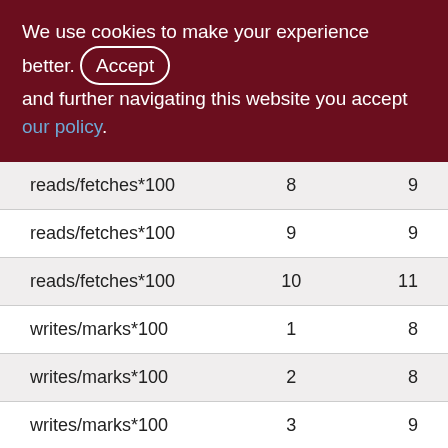We use cookies to make your experience better. By accepting and further navigating this website you accept our policy.
| reads/fetches*100 | 8 | 9 |
| reads/fetches*100 | 9 | 9 |
| reads/fetches*100 | 10 | 11 |
| writes/marks*100 | 1 | 8 |
| writes/marks*100 | 2 | 8 |
| writes/marks*100 | 3 | 9 |
| writes/marks*100 | 4 | 6 |
| writes/marks*100 | 5 | 7 |